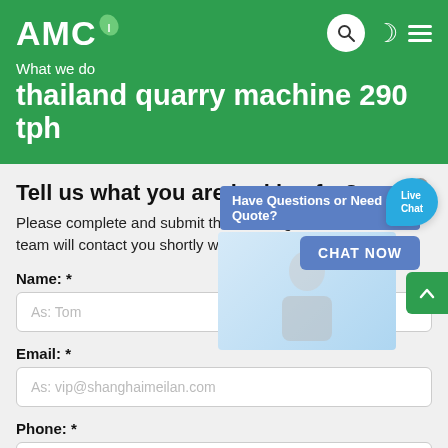AMC
What we do
thailand quarry machine 290 tph
Tell us what you are looking for?
Please complete and submit the following form and our sales team will contact you shortly with our best prices.
Name: *
As: Tom
Email: *
As: vip@shanghaimeilan.com
Phone: *
With Country Code